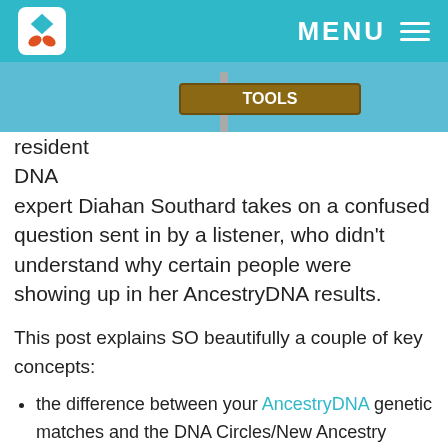MENU
[Figure (photo): Street sign photo with teal background and logo header bar]
resident
DNA
expert Diahan Southard takes on a confused question sent in by a listener, who didn't understand why certain people were showing up in her AncestryDNA results.
This post explains SO beautifully a couple of key concepts:
the difference between your AncestryDNA genetic matches and the DNA Circles/New Ancestry Discoveries that pull from both your genetic results and your family tree; AND
three reasons someone may show up in your AncestryDNA matches as a New Ancestry